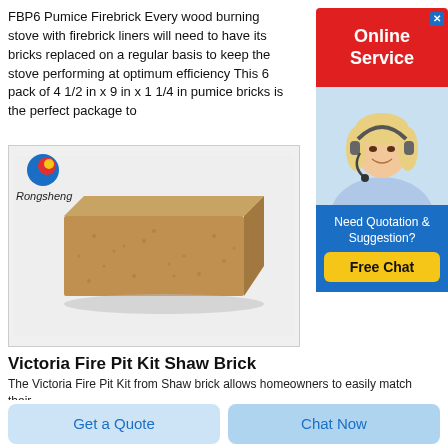FBP6 Pumice Firebrick Every wood burning stove with firebrick liners will need to have its bricks replaced on a regular basis to keep the stove performing at optimum efficiency This 6 pack of 4 1/2 in x 9 in x 1 1/4 in pumice bricks is the perfect package to
[Figure (illustration): Red advertisement banner with white text 'Online Service' and a close button, with a photo of a smiling woman wearing a headset, and a blue section below with 'Need Quotation & Suggestion?' and an orange 'Free Chat' button]
[Figure (photo): Product photo of a pumice firebrick (rectangular sandy-textured brick) on a white background with a Rongsheng logo in the top left]
Victoria Fire Pit Kit Shaw Brick
The Victoria Fire Pit Kit from Shaw brick allows homeowners to easily match their
Get a Quote
Chat Now